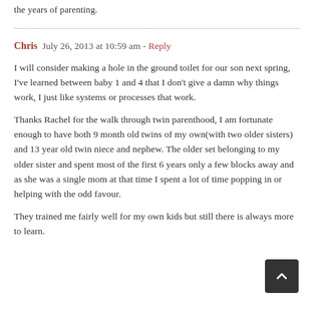the years of parenting.
Chris   July 26, 2013 at 10:59 am - Reply
I will consider making a hole in the ground toilet for our son next spring, I've learned between baby 1 and 4 that I don't give a damn why things work, I just like systems or processes that work.
Thanks Rachel for the walk through twin parenthood, I am fortunate enough to have both 9 month old twins of my own(with two older sisters) and 13 year old twin niece and nephew. The older set belonging to my older sister and spent most of the first 6 years only a few blocks away and as she was a single mom at that time I spent a lot of time popping in or helping with the odd favour.
They trained me fairly well for my own kids but still there is always more to learn.